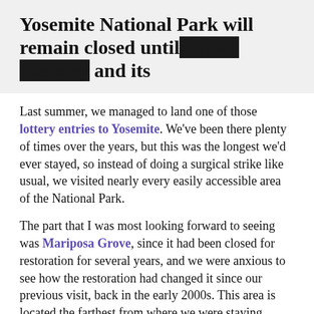Yosemite National Park will remain closed until at least Monday and its
Last summer, we managed to land one of those lottery entries to Yosemite. We've been there plenty of times over the years, but this was the longest we'd ever stayed, so instead of doing a surgical strike like usual, we visited nearly every easily accessible area of the National Park.
The part that I was most looking forward to seeing was Mariposa Grove, since it had been closed for restoration for several years, and we were anxious to see how the restoration had changed it since our previous visit, back in the early 2000s. This area is located the farthest from where we were staying (Groveland), so we planned to drive through the park to